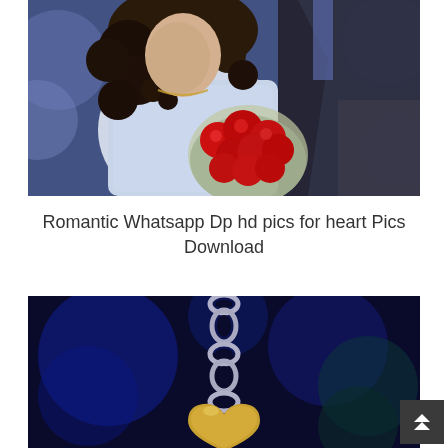[Figure (photo): A couple embracing, woman with curly dark hair wearing a white lace top holding a bouquet of red roses, man in dark suit, blue-toned background]
Romantic Whatsapp Dp hd pics for heart Pics Download
[Figure (photo): Close-up of a metal chain link necklace with a heart-shaped locket pendant against a dark blue blurred background with golden/yellow heart visible at bottom]